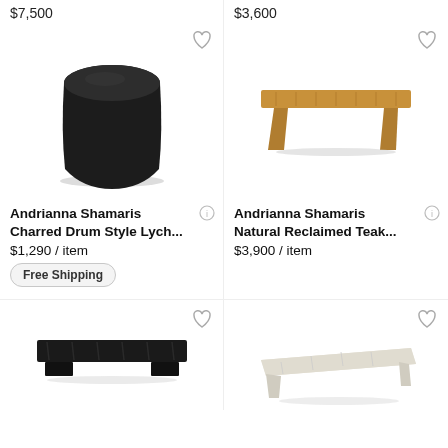$7,500
$3,600
[Figure (photo): Dark charred black drum/barrel shaped stool]
[Figure (photo): Natural teak wood bench with waterfall legs]
Andrianna Shamaris Charred Drum Style Lych... $1,290 / item
Free Shipping
Andrianna Shamaris Natural Reclaimed Teak... $3,900 / item
[Figure (photo): Dark black rough-hewn wood bench, low profile]
[Figure (photo): White/cream colored irregular shaped wood slab bench]